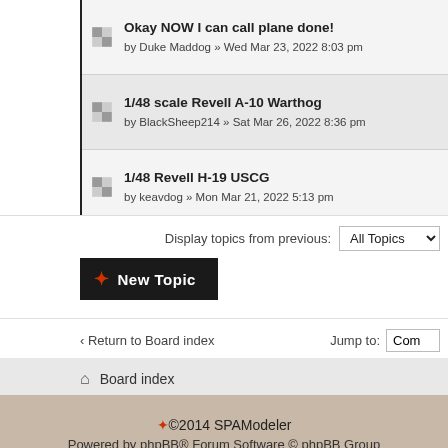Okay NOW I can call plane done! by Duke Maddog » Wed Mar 23, 2022 8:03 pm
1/48 scale Revell A-10 Warthog by BlackSheep214 » Sat Mar 26, 2022 8:36 pm
1/48 Revell H-19 USCG by keavdog » Mon Mar 21, 2022 5:13 pm
Display topics from previous: All Topics
New Topic
‹ Return to Board index
Jump to: Com
Board index
©2014 SPAModeler Powered by phpBB® Forum Software © phpBB Group